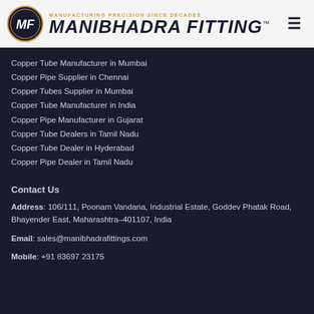[Figure (logo): Manibhadra Fitting company logo with circular MF emblem and tagline 'Manufacturing Precision Since Decades']
Copper Tube Manufacturer in Mumbai
Copper Pipe Supplier in Chennai
Copper Tubes Supplier in Mumbai
Copper Tube Manufacturer in India
Copper Pipe Manufacturer in Gujarat
Copper Tube Dealers in Tamil Nadu
Copper Tube Dealer in Hyderabad
Copper Pipe Dealer in Tamil Nadu
Contact Us
Address: 106/111, Poonam Vandana, Industrial Estate, Goddev Phatak Road, Bhayender East, Maharashtra-401107, India
Email: sales@manibhadrafittings.com
Mobile: +91 83697 23175